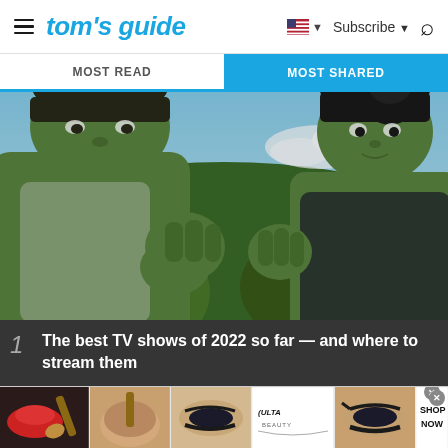tom's guide — Subscribe
MOST READ | MOST SHARED
[Figure (photo): Two green-skinned superhero characters (Hulk and She-Hulk) facing each other outdoors with tropical foliage in the background]
1 The best TV shows of 2022 so far — and where to stream them
[Figure (photo): Ulta Beauty advertisement banner with makeup imagery including lips, powder brush, eye makeup, Ulta logo, and model with dramatic eye makeup, with SHOP NOW call to action]